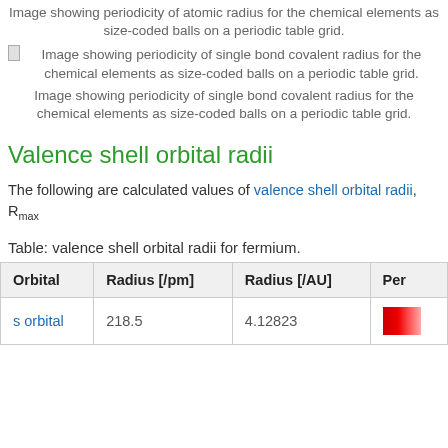Image showing periodicity of atomic radius for the chemical elements as size-coded balls on a periodic table grid.
[Figure (illustration): Image showing periodicity of single bond covalent radius for the chemical elements as size-coded balls on a periodic table grid.]
Image showing periodicity of single bond covalent radius for the chemical elements as size-coded balls on a periodic table grid.
Valence shell orbital radii
The following are calculated values of valence shell orbital radii, Rmax
Table: valence shell orbital radii for fermium.
| Orbital | Radius [/pm] | Radius [/AU] | Per |
| --- | --- | --- | --- |
| s orbital | 218.5 | 4.12823 |  |